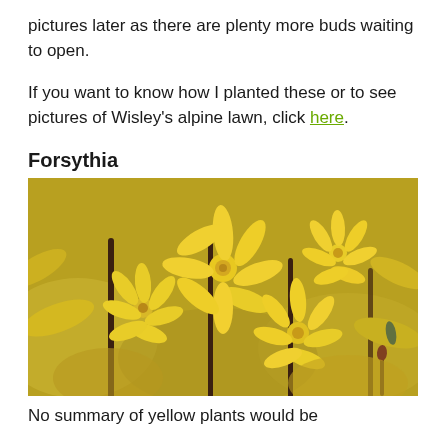pictures later as there are plenty more buds waiting to open.
If you want to know how I planted these or to see pictures of Wisley's alpine lawn, click here.
Forsythia
[Figure (photo): Close-up photograph of bright yellow forsythia flowers in bloom, with dark brown stems and blurred background of more yellow flowers.]
No summary of yellow plants would be